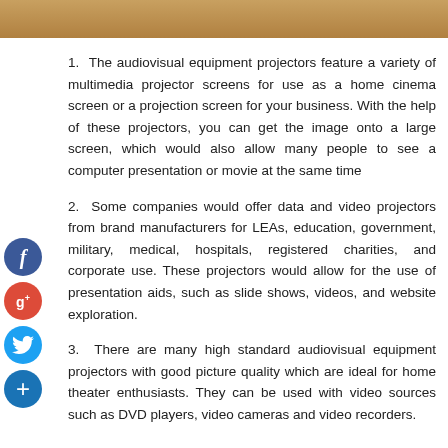[Figure (photo): Partial photo strip at top of page, showing warm brown/orange tones]
1. The audiovisual equipment projectors feature a variety of multimedia projector screens for use as a home cinema screen or a projection screen for your business. With the help of these projectors, you can get the image onto a large screen, which would also allow many people to see a computer presentation or movie at the same time
2. Some companies would offer data and video projectors from brand manufacturers for LEAs, education, government, military, medical, hospitals, registered charities, and corporate use. These projectors would allow for the use of presentation aids, such as slide shows, videos, and website exploration.
3. There are many high standard audiovisual equipment projectors with good picture quality which are ideal for home theater enthusiasts. They can be used with video sources such as DVD players, video cameras and video recorders.